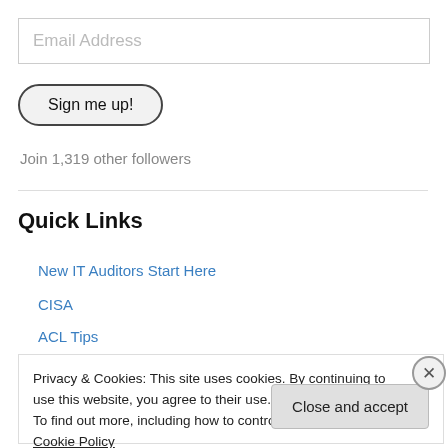[Figure (screenshot): Email address input field with placeholder text 'Email Address']
[Figure (screenshot): Button labeled 'Sign me up!' with rounded pill shape]
Join 1,319 other followers
Quick Links
New IT Auditors Start Here
CISA
ACL Tips
Privacy & Cookies: This site uses cookies. By continuing to use this website, you agree to their use.
To find out more, including how to control cookies, see here: Cookie Policy
Close and accept